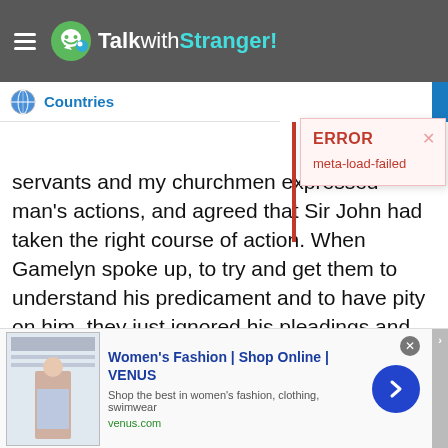TalkwithStranger!
Countries
ERROR
meta-load-failed
servants and my churchmen expressed man's actions, and agreed that Sir John had taken the right course of action. When Gamelyn spoke up, to try and get them to understand his predicament and to have pity on him, they just ignored his pleadings and mocked him, then carried on eating and drinking, toasting the health of their host. As they had arranged, Adam then brought in some sturdy wooden staves, and Gamelyn easily threw of his shackles, which had only been loosely fixed on him.

The poor churchmen were no match for the young, fit
[Figure (screenshot): Ad banner for Women's Fashion | Shop Online | VENUS at venus.com]